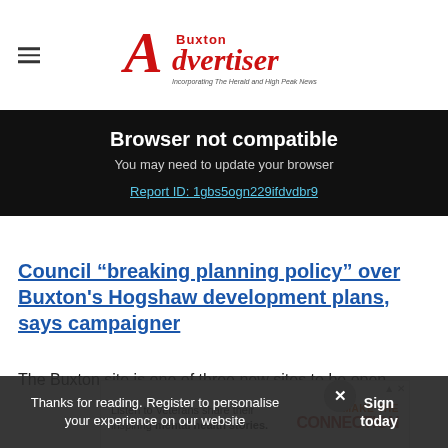Buxton Advertiser — Incorporating The Herald and High Peak News
Browser not compatible
You may need to update your browser
Report ID: 1gbs5ogn229ifdvdbr9
Council “breaking planning policy” over Buxton's Hogshaw development plans, says campaigner
The Buxton site is one of three new sites to be open... Chesterfield and North East Derbyshire now in...
Thanks for reading. Register to personalise your experience on our website